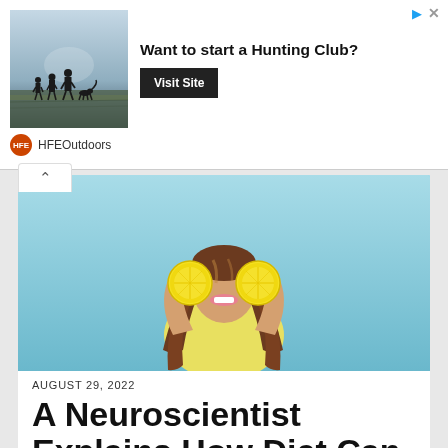[Figure (infographic): Advertisement banner: outdoor scene silhouettes of people walking with a dog in misty field. Text: 'Want to start a Hunting Club?' with 'Visit Site' button. Brand: HFEOutdoors.]
[Figure (photo): Woman with long brown hair holding lemon halves over her eyes, smiling, against a light blue background, wearing a yellow top.]
AUGUST 29, 2022
A Neuroscientist Explains How Diet Can Influence Mood, Behavior and More